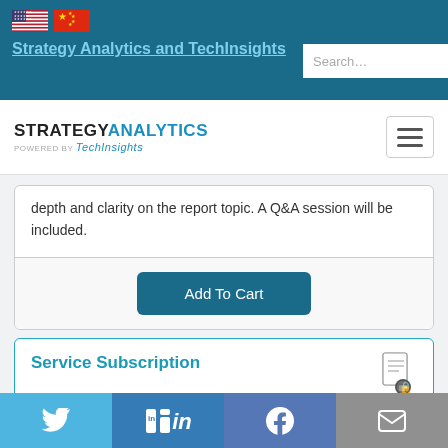Strategy Analytics and TechInsights
[Figure (logo): Strategy Analytics powered by TechInsights logo with hamburger menu]
depth and clarity on the report topic. A Q&A session will be included.
Add To Cart
Service Subscription
Access this report as part of a service subscription.